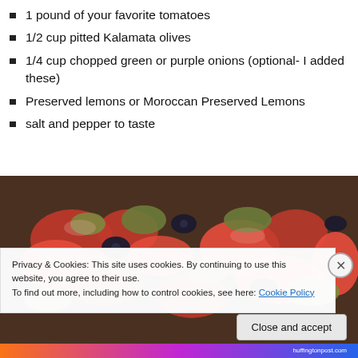1 pound of your favorite tomatoes
1/2 cup pitted Kalamata olives
1/4 cup chopped green or purple onions (optional- I added these)
Preserved lemons or Moroccan Preserved Lemons
salt and pepper to taste
[Figure (photo): A bowl of tomato and olive salad with green olives, black olives, and chopped tomatoes]
Privacy & Cookies: This site uses cookies. By continuing to use this website, you agree to their use.
To find out more, including how to control cookies, see here: Cookie Policy
Close and accept